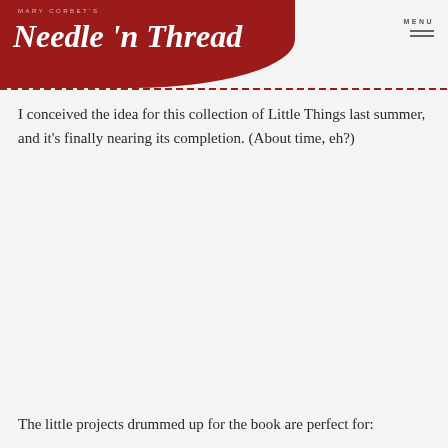MARY CORBET'S Needle 'n Thread
I conceived the idea for this collection of Little Things last summer, and it’s finally nearing its completion. (About time, eh?)
The little projects drummed up for the book are perfect for: